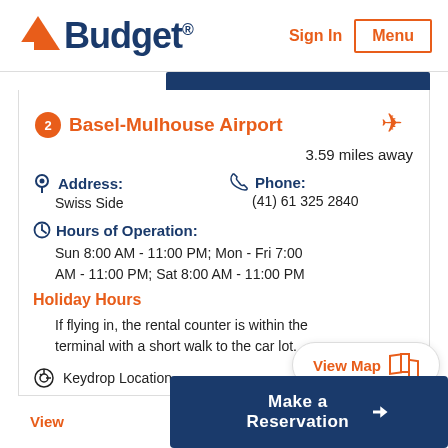[Figure (logo): Budget car rental logo with orange triangle and dark blue text]
Sign In
Menu
2 Basel-Mulhouse Airport
3.59 miles away
Address: Swiss Side
Phone: (41) 61 325 2840
Hours of Operation: Sun 8:00 AM - 11:00 PM; Mon - Fri 7:00 AM - 11:00 PM; Sat 8:00 AM - 11:00 PM
Holiday Hours
If flying in, the rental counter is within the terminal with a short walk to the car lot.
Keydrop Location
View Map
Make a Reservation
View